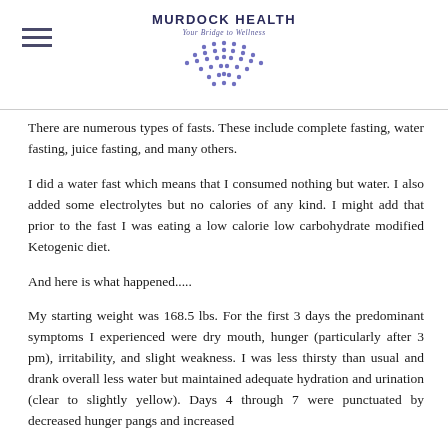MURDOCK HEALTH
Your Bridge to Wellness
There are numerous types of fasts. These include complete fasting, water fasting, juice fasting, and many others.
I did a water fast which means that I consumed nothing but water. I also added some electrolytes but no calories of any kind. I might add that prior to the fast I was eating a low calorie low carbohydrate modified Ketogenic diet.
And here is what happened.....
My starting weight was 168.5 lbs. For the first 3 days the predominant symptoms I experienced were dry mouth, hunger (particularly after 3 pm), irritability, and slight weakness. I was less thirsty than usual and drank overall less water but maintained adequate hydration and urination (clear to slightly yellow). Days 4 through 7 were punctuated by decreased hunger pangs and increased